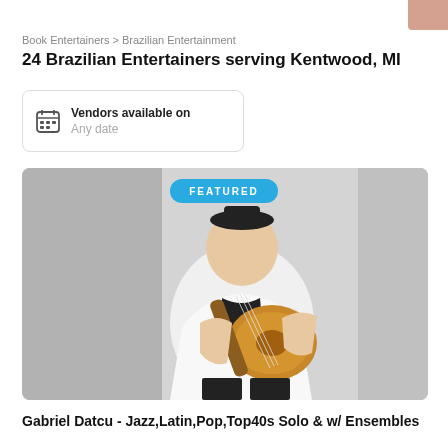[Figure (photo): Partial image of a person visible at top-right corner of page]
Book Entertainers > Brazilian Entertainment
24 Brazilian Entertainers serving Kentwood, MI
Vendors available on
Any date
[Figure (photo): Featured musician wearing a white jacket and black hat, holding an acoustic guitar pointed toward the camera, against a grey studio background. Blue 'FEATURED' badge overlay at top center.]
Gabriel Datcu - Jazz,Latin,Pop,Top40s Solo & w/ Ensembles